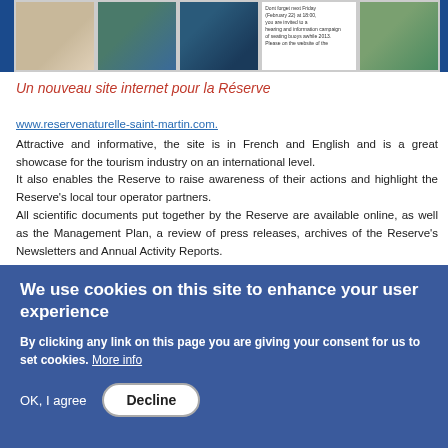[Figure (photo): Top strip with photos: portrait of a man, underwater ocean scenes, and a text box with event info, flanked by blue bars]
Un nouveau site internet pour la Réserve
www.reservenaturelle-saint-martin.com.
Attractive and informative, the site is in French and English and is a great showcase for the tourism industry on an international level.
It also enables the Reserve to raise awareness of their actions and highlight the Reserve's local tour operator partners.
All scientific documents put together by the Reserve are available online, as well as the Management Plan, a review of press releases, archives of the Reserve's Newsletters and Annual Activity Reports.
[Figure (screenshot): Screenshot of website page titled PLONGÉE - POISSONS showing four underwater fish/coral photos]
We use cookies on this site to enhance your user experience

By clicking any link on this page you are giving your consent for us to set cookies. More info

OK, I agree    Decline